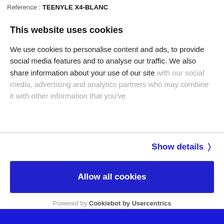Reference : TEENYLE X4-BLANC
This website uses cookies
We use cookies to personalise content and ads, to provide social media features and to analyse our traffic. We also share information about your use of our site with our social media, advertising and analytics partners who may combine it with other information that you've
Show details >
Allow all cookies
Customize >
Powered by Cookiebot by Usercentrics